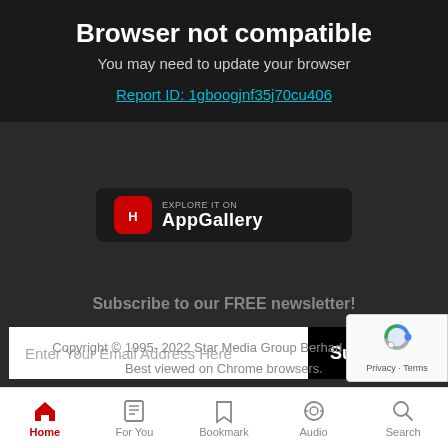Browser not compatible
You may need to update your browser
Report ID: 1gboogjnf35j70cu406
[Figure (logo): Huawei AppGallery badge with red Huawei logo and text 'EXPLORE IT ON AppGallery']
Subscribe to our FREE newsletter!
Enter Your Email Address Here
Subscribe
Copyright © 1995- 2022 Star Media Group Berhad (10894D)
Best viewed on Chrome browsers.
[Figure (other): reCAPTCHA badge with Privacy - Terms links]
Home | For You | Bookmark | Audio | Search